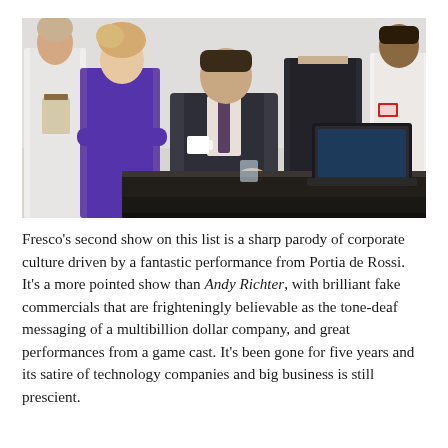[Figure (photo): Promotional photo of a TV show cast: a man in a dark suit sitting at a desk holding a white coffee mug, surrounded by colleagues including a woman in a purple top with arms crossed, a woman in a dark suit, and two people in white lab coats. A laptop is on the desk in the background.]
Fresco’s second show on this list is a sharp parody of corporate culture driven by a fantastic performance from Portia de Rossi. It’s a more pointed show than Andy Richter, with brilliant fake commercials that are frighteningly believable as the tone-deaf messaging of a multibillion dollar company, and great performances from a game cast. It’s been gone for five years and its satire of technology companies and big business is still prescient.